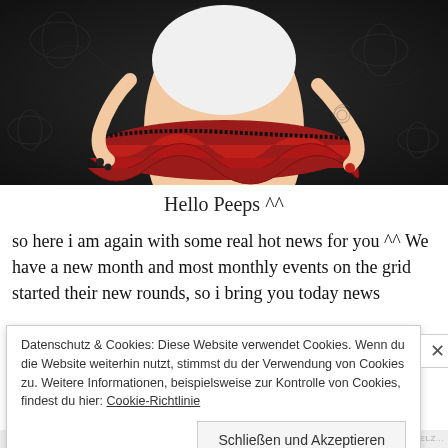[Figure (illustration): Anime/3D illustration of a female character wearing a red ruffled skirt and white top, on a dark floral background. Only the torso and lower half visible.]
Hello Peeps ^^
so here i am again with some real hot news for you ^^ We have a new month and most monthly events on the grid started their new rounds, so i bring you today news
Datenschutz & Cookies: Diese Website verwendet Cookies. Wenn du die Website weiterhin nutzt, stimmst du der Verwendung von Cookies zu. Weitere Informationen, beispielsweise zur Kontrolle von Cookies, findest du hier: Cookie-Richtlinie
Schließen und Akzeptieren